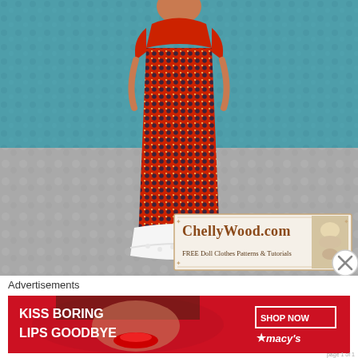[Figure (photo): A fashion doll wearing a red polka-dot prairie-style dress with white eyelet ruffle hem, standing against a teal blue background with a gray marble floor. A ChellyWood.com watermark overlay in bottom right shows 'FREE Doll Clothes Patterns & Tutorials' with a close button (X) nearby.]
Advertisements
[Figure (photo): Macy's advertisement banner with red background showing a woman's face with red lips, text 'KISS BORING LIPS GOODBYE', 'SHOP NOW' button, and Macy's star logo]